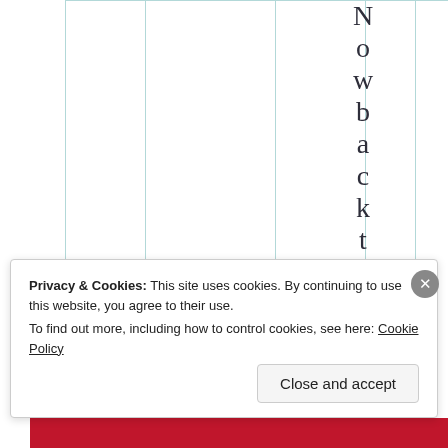[Figure (other): Table or chart background with multiple vertical column dividers rendered in light teal/green lines on white background]
N o w b a c k t o b e
Privacy & Cookies: This site uses cookies. By continuing to use this website, you agree to their use.
To find out more, including how to control cookies, see here: Cookie Policy
Close and accept